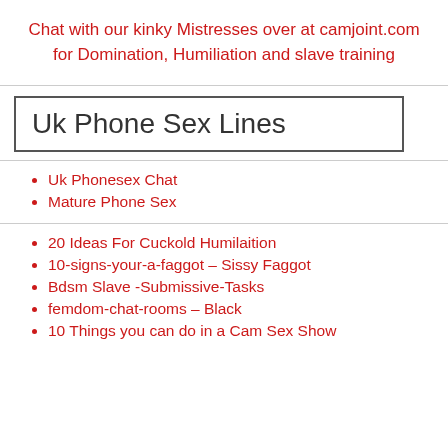Chat with our kinky Mistresses over at camjoint.com for Domination, Humiliation and slave training
Uk Phone Sex Lines
Uk Phonesex Chat
Mature Phone Sex
20 Ideas For Cuckold Humilaition
10-signs-your-a-faggot – Sissy Faggot
Bdsm Slave -Submissive-Tasks
femdom-chat-rooms – Black
10 Things you can do in a Cam Sex Show